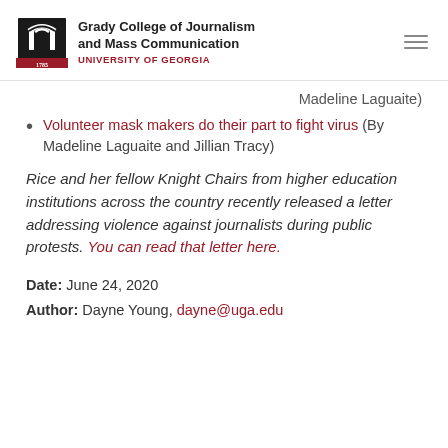Grady College of Journalism and Mass Communication UNIVERSITY OF GEORGIA
Madeline Laguaite)
Volunteer mask makers do their part to fight virus (By Madeline Laguaite and Jillian Tracy)
Rice and her fellow Knight Chairs from higher education institutions across the country recently released a letter addressing violence against journalists during public protests. You can read that letter here.
Date: June 24, 2020
Author: Dayne Young, dayne@uga.edu